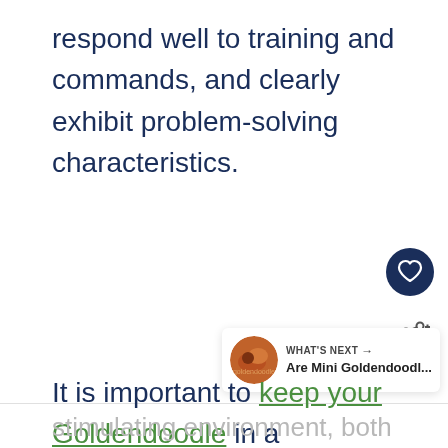respond well to training and commands, and clearly exhibit problem-solving characteristics.
[Figure (infographic): Heart/like button (dark navy circle with white heart icon) and share button (white circle with share icon), floating UI elements on the right side of the page]
[Figure (infographic): What's Next card showing a circular thumbnail of food/dog image, label 'WHAT'S NEXT →', and title text 'Are Mini Goldendoodl...']
It is important to keep your Goldendoodle in a
stimulating environment, both emotionally and physically. A Goldendoodle that is constantly